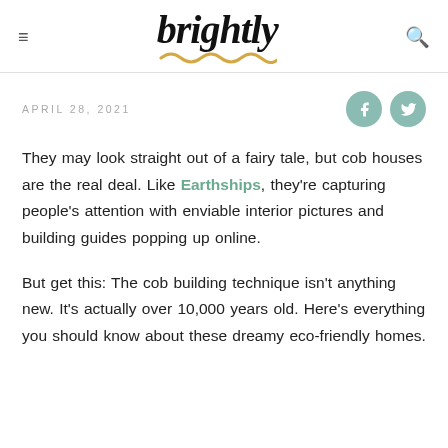brightly
APRIL 28, 2021
They may look straight out of a fairy tale, but cob houses are the real deal. Like Earthships, they're capturing people's attention with enviable interior pictures and building guides popping up online.
But get this: The cob building technique isn't anything new. It's actually over 10,000 years old. Here's everything you should know about these dreamy eco-friendly homes.